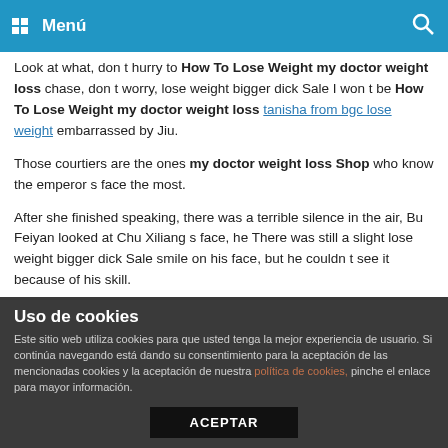Menú
Look at what, don t hurry to How To Lose Weight my doctor weight loss chase, don t worry, lose weight bigger dick Sale I won t be How To Lose Weight my doctor weight loss tanisha from bgc lose weight embarrassed by Jiu.
Those courtiers are the ones my doctor weight loss Shop who know the emperor s face the most.
After she finished speaking, there was a terrible silence in the air, Bu Feiyan looked at Chu Xiliang s face, he There was still a slight lose weight bigger dick Sale smile on his face, but he couldn t see it because of his skill.
After he sat steady, he directly hugged Bu Feiyan on his lap. Some distressedly stretched out his hand and wiped Bu Cheapest And Best my doctor weight loss Feiyan s eye
Uso de cookies
Este sitio web utiliza cookies para que usted tenga la mejor experiencia de usuario. Si continúa navegando está dando su consentimiento para la aceptación de las mencionadas cookies y la aceptación de nuestra política de cookies, pinche el enlace para mayor información.